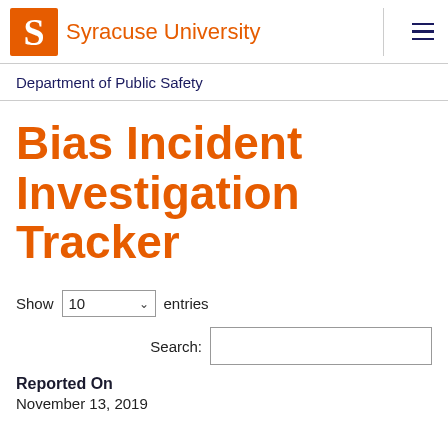Syracuse University
Department of Public Safety
Bias Incident Investigation Tracker
Show 10 entries
Search:
Reported On
November 13, 2019